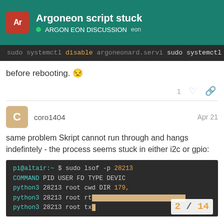Argoneon script stuck — ARGON EON DISCUSSION eon
sudo systemctl disable argoneonard.servi
sudo systemctl disable argononed.servic
before rebooting. 😒
coro1404  Apr 21
same problem Skript cannot run through and hangs indefintely - the process seems stuck in either i2c or gpio:
pi@altair:~ $ sudo lsof -p 28213
COMMAND   PID   USER   FD      TYPE  DEVIC
python3 28213  root  cwd       DIR  179,
python3 28213  root  rtc
python3 28213  root  txt
2 / 14